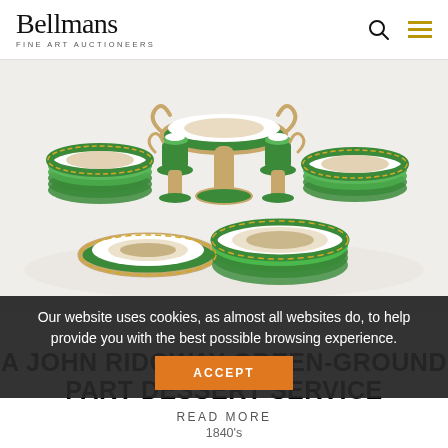Bellmans Fine Art Auctioneers
[Figure (photo): A John Ridgway green-ground part dessert service with ornate gilded borders and hand-painted landscape scenes, featuring plates, dishes, and pedestal comports, circa 1840s]
Our website uses cookies, as almost all websites do, to help provide you with the best possible browsing experience.
ACCEPT
A JOHN RIDGWAY GREEN-GROUND PART DESSERT SERVICE
READ MORE
1840's